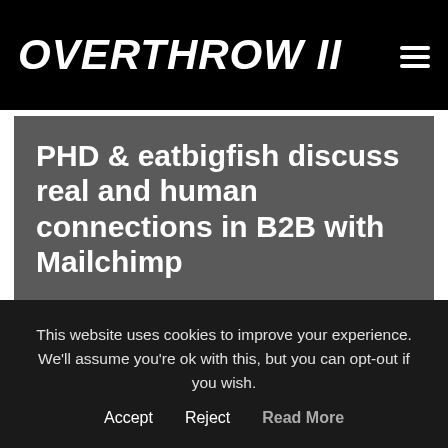OVERTHROW II
PHD & eatbigfish discuss real and human connections in B2B with Mailchimp
12:47 pm · 26 April, 2021
This website uses cookies to improve your experience. We'll assume you're ok with this, but you can opt-out if you wish.
Accept   Reject   Read More